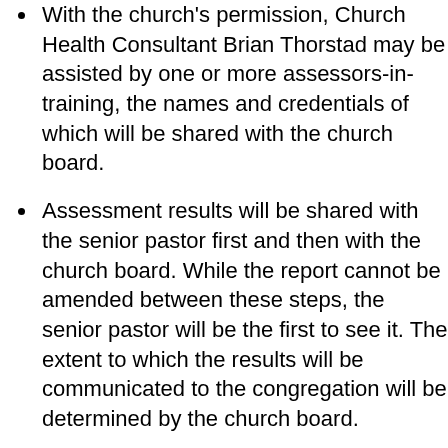With the church's permission, Church Health Consultant Brian Thorstad may be assisted by one or more assessors-in-training, the names and credentials of which will be shared with the church board.
Assessment results will be shared with the senior pastor first and then with the church board. While the report cannot be amended between these steps, the senior pastor will be the first to see it. The extent to which the results will be communicated to the congregation will be determined by the church board.
Assessments are conducted with sensitivity to the positions of the church's staff and board. Brian has thirty+ years of experience as a solo and/or senior pastor as well as experience as a church board member and staff member. Every effort will be taken to